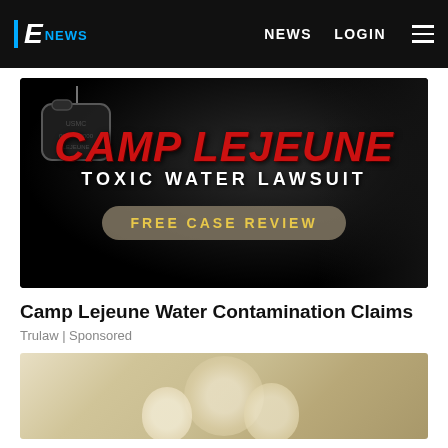E NEWS  |  NEWS  LOGIN
[Figure (photo): Camp Lejeune Toxic Water Lawsuit advertisement with red grunge text, dog tags, military equipment background, and 'FREE CASE REVIEW' button]
Camp Lejeune Water Contamination Claims
Trulaw | Sponsored
[Figure (photo): Close-up photo of a light-colored puppy/dog face, second advertisement item]